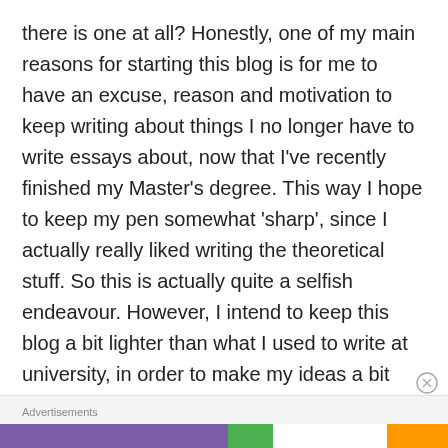there is one at all? Honestly, one of my main reasons for starting this blog is for me to have an excuse, reason and motivation to keep writing about things I no longer have to write essays about, now that I've recently finished my Master's degree. This way I hope to keep my pen somewhat 'sharp', since I actually really liked writing the theoretical stuff. So this is actually quite a selfish endeavour. However, I intend to keep this blog a bit lighter than what I used to write at university, in order to make my ideas a bit more accessible: more fun to read and to write. Additionally, probably not everything on here will be tough, complicated stuff; there'll also probably be a lot of discussion of
Advertisements